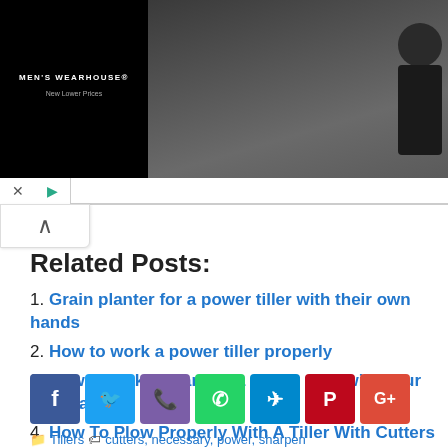[Figure (screenshot): Men's Wearhouse advertisement banner with couple in formal wear and man in suit with VIEW button]
Related Posts:
1. Grain planter for a power tiller with their own hands
2. How to work a power tiller properly
3. How to make a cart for a power tiller with your own hands
4. How To Plow Properly With A Tiller With Cutters
[Figure (screenshot): Social media sharing buttons: Facebook, Twitter, Phone, WhatsApp, Telegram, Pinterest, Google+]
Tillers   cutters, necessary, power, sharpen